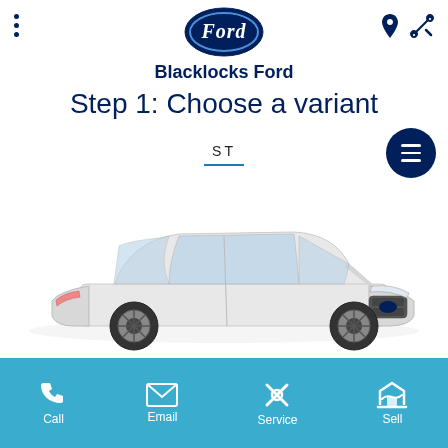[Figure (logo): Ford oval logo in navy blue]
Blacklocks Ford
Step 1: Choose a variant
ST
[Figure (photo): White Ford Fiesta ST hatchback car viewed from front-left angle]
Call  Email  Service  Sell